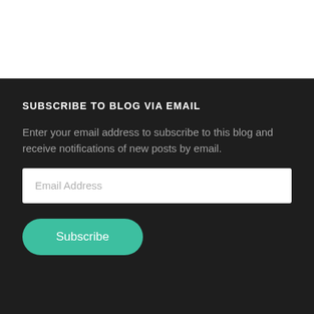SUBSCRIBE TO BLOG VIA EMAIL
Enter your email address to subscribe to this blog and receive notifications of new posts by email.
CATEGORIES